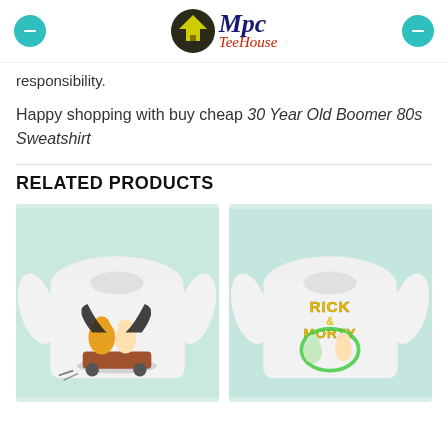Mpc TeeHouse
responsibility.
Happy shopping with buy cheap 30 Year Old Boomer 80s Sweatshirt
RELATED PRODUCTS
[Figure (photo): White sweatshirt with Calvin and Hobbes Batman graphic]
[Figure (photo): White sweatshirt with Rick and Morty graphic]